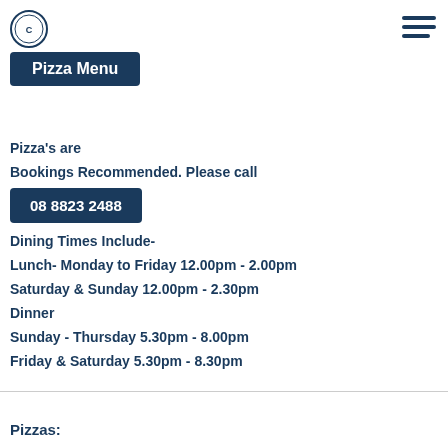[Figure (logo): Circular restaurant logo in dark navy blue]
Pizza Menu
Pizza's are
Bookings Recommended. Please call
08 8823 2488
Dining Times Include-
Lunch- Monday to Friday 12.00pm - 2.00pm
Saturday & Sunday 12.00pm - 2.30pm
Dinner
Sunday - Thursday 5.30pm - 8.00pm
Friday & Saturday 5.30pm - 8.30pm
Pizzas: